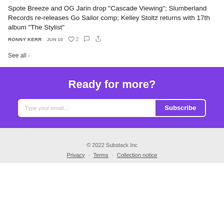Spote Breeze and OG Jarin drop "Cascade Viewing"; Slumberland Records re-releases Go Sailor comp; Kelley Stoltz returns with 17th album "The Stylist"
RONNY KERR  JUN 10  ♡ 2  💬  ↗
See all ›
Ready for more?
Type your email…  Subscribe
© 2022 Substack Inc
Privacy · Terms · Collection notice